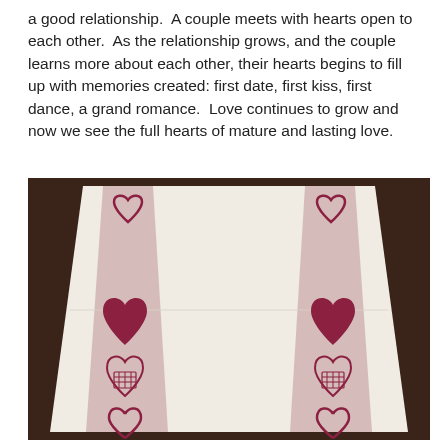a good relationship.  A couple meets with hearts open to each other.  As the relationship grows, and the couple learns more about each other, their hearts begins to fill up with memories created: first date, first kiss, first dance, a grand romance.  Love continues to grow and now we see the full hearts of mature and lasting love.
[Figure (photo): A white embroidered textile table runner photographed on a dark brown background. The runner features two vertical pink/dusty-rose woven stripes with cross-stitched heart motifs in dark red/burgundy. The hearts appear in different styles: an outline heart at the top, a solid full heart in the middle, a latticed/Celtic heart below it, and a half-heart at the bottom. The pattern is mirrored symmetrically on both the left and right stripes.]